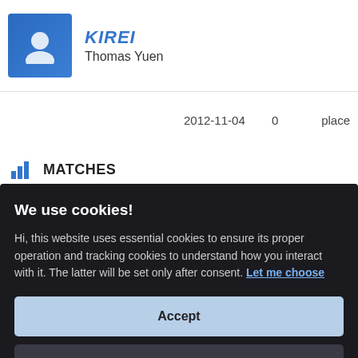KIREI — Thomas Yuen
| 2012-11-04 | 0 | place |
MATCHES
We use cookies!
Hi, this website uses essential cookies to ensure its proper operation and tracking cookies to understand how you interact with it. The latter will be set only after consent. Let me choose
Accept
Reject